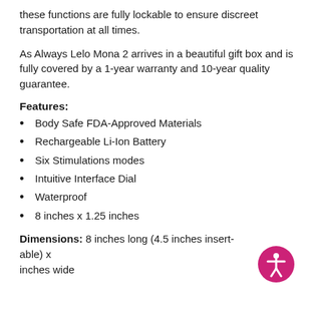these functions are fully lockable to ensure discreet transportation at all times.
As Always Lelo Mona 2 arrives in a beautiful gift box and is fully covered by a 1-year warranty and 10-year quality guarantee.
Features:
Body Safe FDA-Approved Materials
Rechargeable Li-Ion Battery
Six Stimulations modes
Intuitive Interface Dial
Waterproof
8 inches x 1.25 inches
Dimensions: 8 inches long (4.5 inches insert-able) x inches wide